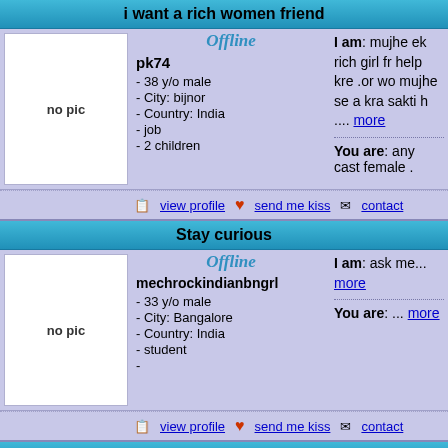i want a rich women friend
[Figure (other): No profile picture placeholder showing 'no pic']
Offline
pk74
- 38 y/o male
- City: bijnor
- Country: India
- job
- 2 children
I am: mujhe ek rich girl fr help kre .or wo mujhe se a kra sakti h .... more
You are: any cast female .
view profile  send me kiss  contact
Stay curious
[Figure (other): No profile picture placeholder showing 'no pic']
Offline
mechrockindianbngrl
- 33 y/o male
- City: Bangalore
- Country: India
- student
-
I am: ask me... more
You are: ... more
view profile  send me kiss  contact
Iam single person i am very nerves i want to girl f